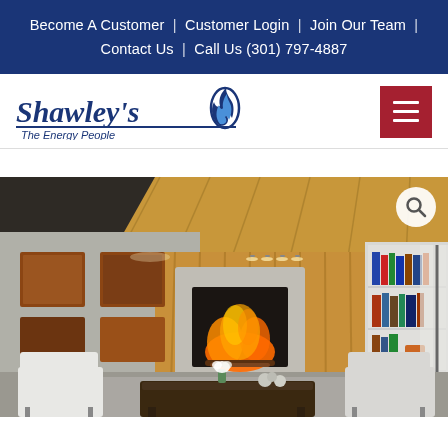Become A Customer | Customer Login | Join Our Team | Contact Us | Call Us (301) 797-4887
[Figure (logo): Shawley's The Energy People logo with flame icon and blue underline]
[Figure (photo): Modern living room interior with wood-paneled walls, built-in fireplace burning, bookshelves, white chairs, dark wood coffee table, and flower vase. Search icon in top-right corner.]